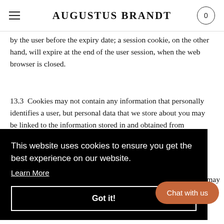AUGUSTUS BRANDT
by the user before the expiry date; a session cookie, on the other hand, will expire at the end of the user session, when the web browser is closed.
13.3  Cookies may not contain any information that personally identifies a user, but personal data that we store about you may be linked to the information stored in and obtained from
[Figure (screenshot): Cookie consent banner overlay with black background. Text: 'This website uses cookies to ensure you get the best experience on our website.' with 'Learn More' link and 'Got it!' button.]
information about the use of our website by means of